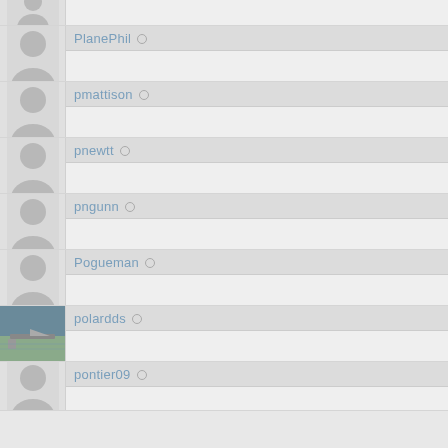(partial row - no username visible)
PlanePhil ○
pmattison ○
pnewtt ○
pngunn ○
Pogueman ○
polardds ○
pontier09 ○